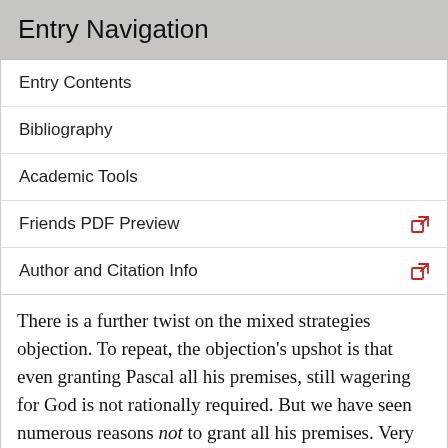Entry Navigation
Entry Contents
Bibliography
Academic Tools
Friends PDF Preview
Author and Citation Info
There is a further twist on the mixed strategies objection. To repeat, the objection's upshot is that even granting Pascal all his premises, still wagering for God is not rationally required. But we have seen numerous reasons not to grant all his premises. Very well then; let's not. Indeed, let's suppose that you give tiny probability p to them all being true, where p is positive and finite. So you assign probability p to your decision problem being exactly as Pascal claims it to be. But if it is, according to the mixed strategies objection, all hell breaks loose. Yet again, p multiplied by infinity gives infinity. Hence, it